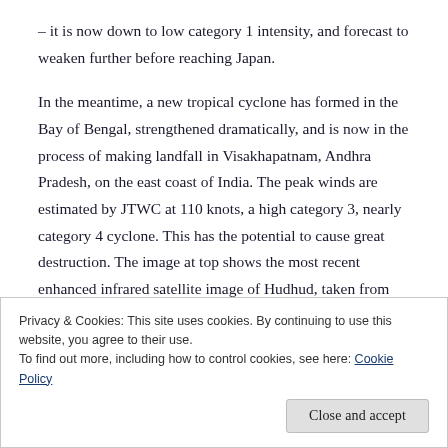– it is now down to low category 1 intensity, and forecast to weaken further before reaching Japan.
In the meantime, a new tropical cyclone has formed in the Bay of Bengal, strengthened dramatically, and is now in the process of making landfall in Visakhapatnam, Andhra Pradesh, on the east coast of India. The peak winds are estimated by JTWC at 110 knots, a high category 3, nearly category 4 cyclone. This has the potential to cause great destruction. The image at top shows the most recent enhanced infrared satellite image of Hudhud, taken from
Privacy & Cookies: This site uses cookies. By continuing to use this website, you agree to their use.
To find out more, including how to control cookies, see here: Cookie Policy
Close and accept